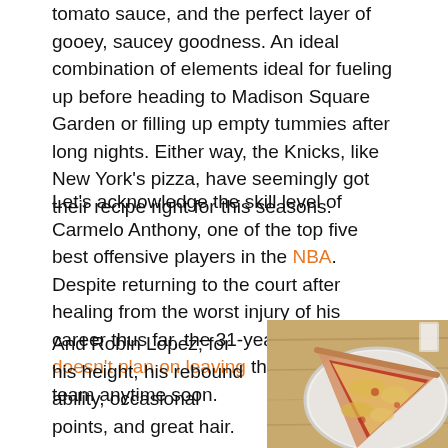tomato sauce, and the perfect layer of gooey, saucey goodness. An ideal combination of elements ideal for fueling up before heading to Madison Square Garden or filling up empty tummies after long nights. Either way, the Knicks, like New York's pizza, have seemingly got their recipe right for this seasons.
Let's acknowledge the skill level of Carmelo Anthony, one of the top five best offensive players in the NBA. Despite returning to the court after healing from the worst injury of his career thus far, the 31-year old player doesn't plan on leaving the New York team anytime soon.
And Robin Lopez; for his height, his rebound ability, occasional points, and great hair.
[Figure (photo): A slice of New York-style cheese pizza on a white paper plate on a wooden surface, with a plastic cup visible in the background]